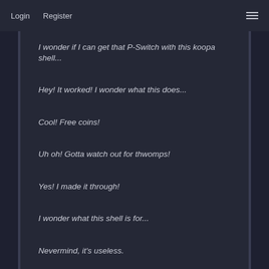Login   Register
I wonder if I can get that P-Switch with this koopa shell...
Hey! It worked! I wonder what this does...
Cool! Free coins!
Uh oh! Gotta watch out for thwomps!
Yes! I made it through!
I wonder what this shell is for...
Nevermind, it's useless.